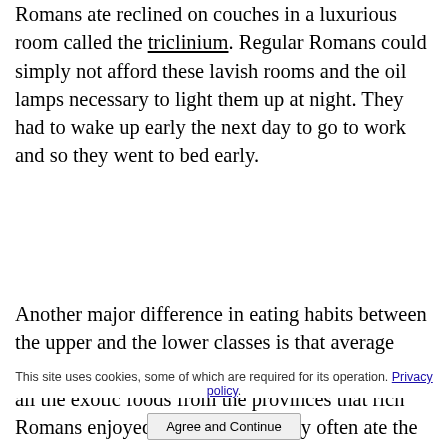Romans ate reclined on couches in a luxurious room called the triclinium. Regular Romans could simply not afford these lavish rooms and the oil lamps necessary to light them up at night. They had to wake up early the next day to go to work and so they went to bed early.
Another major difference in eating habits between the upper and the lower classes is that average Romans usually could not afford to eat meat and all the exotic foods from the provinces that rich Romans enjoyed. For example, they often ate the
This site uses cookies, some of which are required for its operation. Privacy policy
Agree and Continue